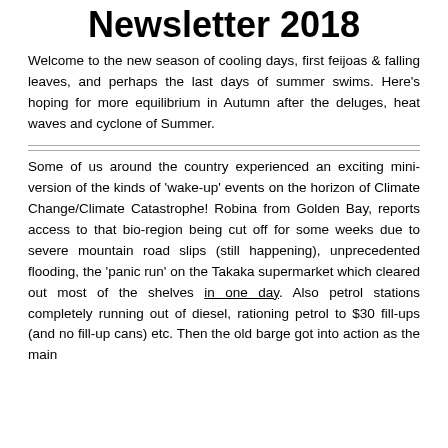Newsletter 2018
Welcome to the new season of cooling days, first feijoas & falling leaves, and perhaps the last days of summer swims. Here's hoping for more equilibrium in Autumn after the deluges, heat waves and cyclone of Summer.
Some of us around the country experienced an exciting mini-version of the kinds of 'wake-up' events on the horizon of Climate Change/Climate Catastrophe! Robina from Golden Bay, reports access to that bio-region being cut off for some weeks due to severe mountain road slips (still happening), unprecedented flooding, the 'panic run' on the Takaka supermarket which cleared out most of the shelves in one day. Also petrol stations completely running out of diesel, rationing petrol to $30 fill-ups (and no fill-up cans) etc. Then the old barge got into action as the main